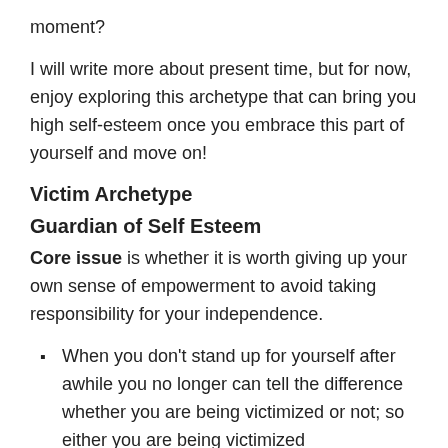moment?
I will write more about present time, but for now, enjoy exploring this archetype that can bring you high self-esteem once you embrace this part of yourself and move on!
Victim Archetype
Guardian of Self Esteem
Core issue is whether it is worth giving up your own sense of empowerment to avoid taking responsibility for your independence.
When you don’t stand up for yourself after awhile you no longer can tell the difference whether you are being victimized or not; so either you are being victimized